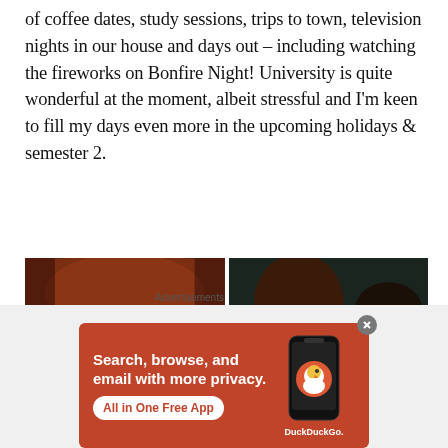of coffee dates, study sessions, trips to town, television nights in our house and days out – including watching the fireworks on Bonfire Night! University is quite wonderful at the moment, albeit stressful and I'm keen to fill my days even more in the upcoming holidays & semester 2.
[Figure (photo): Two side-by-side photos. Left: close-up selfie of a woman with auburn/red hair. Right: a smiling young woman with brown hair and red lipstick next to a young man in a denim jacket, both smiling at camera.]
Advertisements
[Figure (photo): DuckDuckGo advertisement banner with orange/red background. Text reads: Search, browse, and email with more privacy. All in One Free App. Shows a phone mockup with DuckDuckGo logo.]